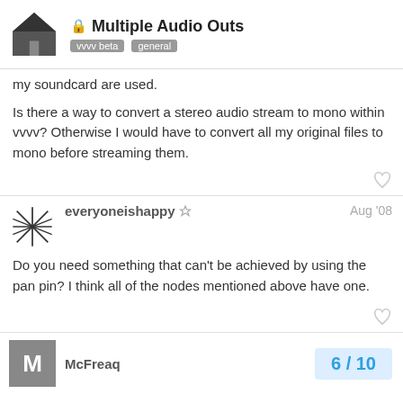Multiple Audio Outs — vvvv beta | general
my soundcard are used.
Is there a way to convert a stereo audio stream to mono within vvvv? Otherwise I would have to convert all my original files to mono before streaming them.
everyoneishappy — Aug '08
Do you need something that can't be achieved by using the pan pin? I think all of the nodes mentioned above have one.
McFreaq — 6 / 10